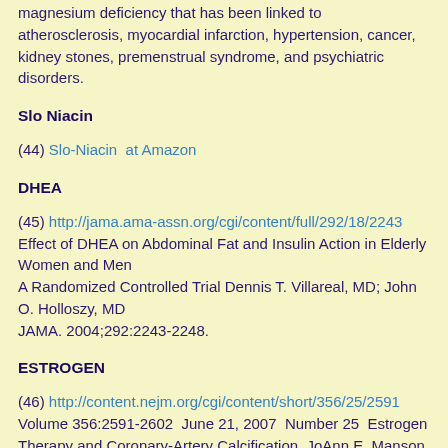magnesium deficiency that has been linked to atherosclerosis, myocardial infarction, hypertension, cancer, kidney stones, premenstrual syndrome, and psychiatric disorders.
Slo Niacin
(44) Slo-Niacin  at Amazon
DHEA
(45) http://jama.ama-assn.org/cgi/content/full/292/18/2243 Effect of DHEA on Abdominal Fat and Insulin Action in Elderly Women and Men A Randomized Controlled Trial Dennis T. Villareal, MD; John O. Holloszy, MD JAMA. 2004;292:2243-2248.
ESTROGEN
(46) http://content.nejm.org/cgi/content/short/356/25/2591 Volume 356:2591-2602  June 21, 2007  Number 25  Estrogen Therapy and Coronary-Artery Calcification. JoAnn E. Manson